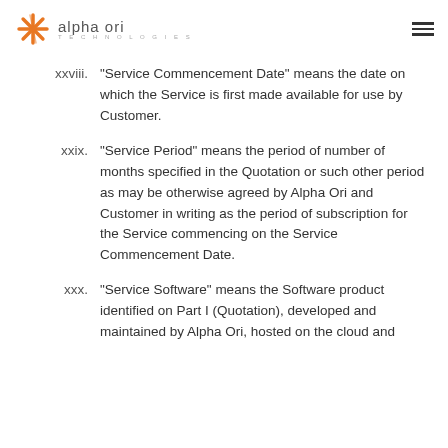alpha ori TECHNOLOGIES
xxviii. “Service Commencement Date” means the date on which the Service is first made available for use by Customer.
xxix. “Service Period” means the period of number of months specified in the Quotation or such other period as may be otherwise agreed by Alpha Ori and Customer in writing as the period of subscription for the Service commencing on the Service Commencement Date.
xxx. “Service Software” means the Software product identified on Part I (Quotation), developed and maintained by Alpha Ori, hosted on the cloud and